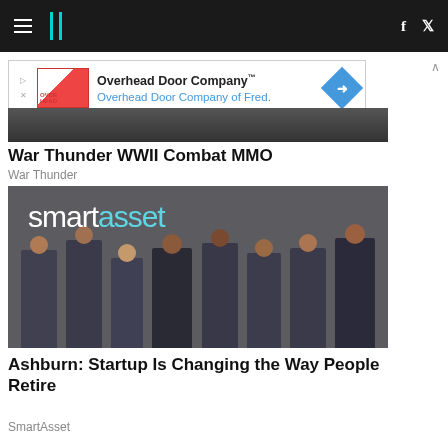HuffPost navigation header with hamburger menu, logo, Facebook and Twitter icons
[Figure (screenshot): Advertisement banner for Overhead Door Company with logo, text 'Overhead Door Company™' and 'Overhead Door Company of Fred.' with blue diamond arrow icon]
[Figure (photo): Dark screenshot image partially visible at top of page, likely a game screenshot]
War Thunder WWII Combat MMO
War Thunder
[Figure (photo): Group photo of SmartAsset team members standing in front of a wall with 'smartasset' logo text, wearing branded t-shirts]
Ashburn: Startup Is Changing the Way People Retire
SmartAsset